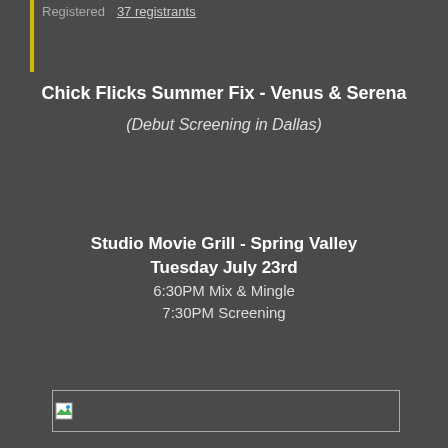Registered   37 registrants
Chick Flicks Summer Fix - Venus & Serena
(Debut Screening in Dallas)
Studio Movie Grill - Spring Valley
Tuesday July 23rd
6:30PM Mix & Mingle
7:30PM Screening
[Figure (photo): Broken/missing image placeholder with small image icon]